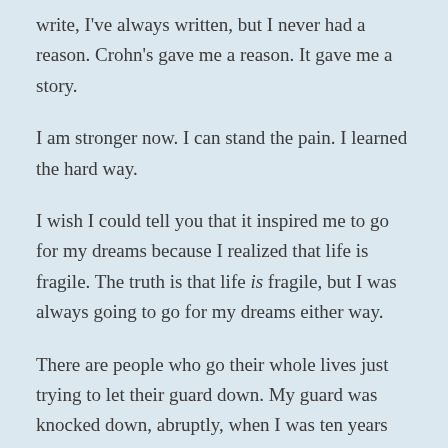write, I've always written, but I never had a reason. Crohn's gave me a reason. It gave me a story.
I am stronger now. I can stand the pain. I learned the hard way.
I wish I could tell you that it inspired me to go for my dreams because I realized that life is fragile. The truth is that life is fragile, but I was always going to go for my dreams either way.
There are people who go their whole lives just trying to let their guard down. My guard was knocked down, abruptly, when I was ten years old. I never bothered to rebuild it. I find my greatest power in vulnerability. I think